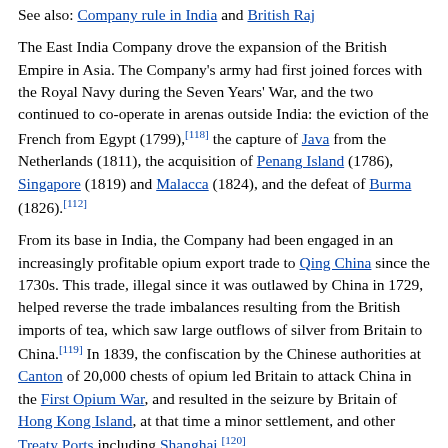See also: Company rule in India and British Raj
The East India Company drove the expansion of the British Empire in Asia. The Company's army had first joined forces with the Royal Navy during the Seven Years' War, and the two continued to co-operate in arenas outside India: the eviction of the French from Egypt (1799),[118] the capture of Java from the Netherlands (1811), the acquisition of Penang Island (1786), Singapore (1819) and Malacca (1824), and the defeat of Burma (1826).[112]
From its base in India, the Company had been engaged in an increasingly profitable opium export trade to Qing China since the 1730s. This trade, illegal since it was outlawed by China in 1729, helped reverse the trade imbalances resulting from the British imports of tea, which saw large outflows of silver from Britain to China.[119] In 1839, the confiscation by the Chinese authorities at Canton of 20,000 chests of opium led Britain to attack China in the First Opium War, and resulted in the seizure by Britain of Hong Kong Island, at that time a minor settlement, and other Treaty Ports including Shanghai.[120]
During the late 18th and early 19th centuries, the British Crown began to assume an increasingly large role in the affairs of the Company. A series of Acts of Parliament were passed, including the Regulating Act of 1773, Pitt's India Act of 1784, and the Char...